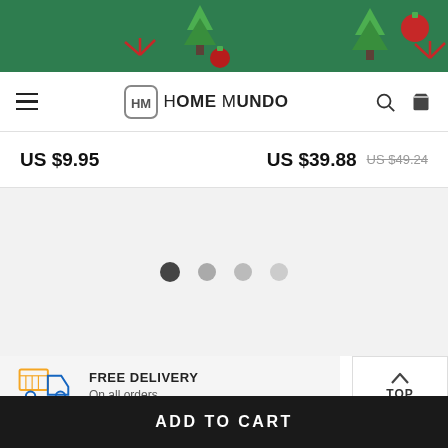[Figure (screenshot): Christmas themed website banner with green background, Christmas trees, snowflakes, ornaments in red and green]
HOME MUNDO
US $9.95   US $39.88   US $49.24
[Figure (other): Carousel navigation dots — one dark active dot followed by three lighter inactive dots]
FREE DELIVERY
On all orders
TOP
ADD TO CART